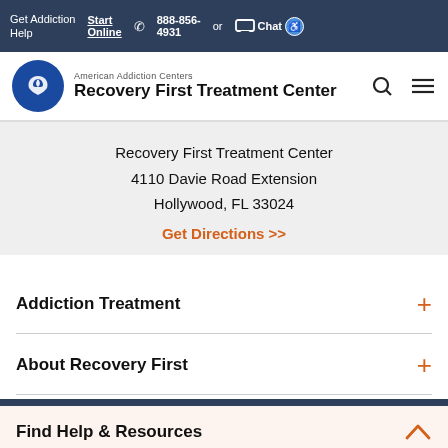Get Addiction Help  Start Online  888-856-4931  or  Chat
[Figure (logo): American Addiction Centers Recovery First Treatment Center logo with blue circle and dove icon, search and menu icons on right]
Recovery First Treatment Center
4110 Davie Road Extension
Hollywood, FL 33024
Get Directions >>
Addiction Treatment
About Recovery First
Find Help & Resources